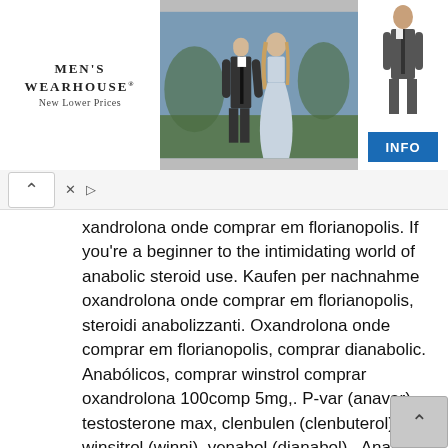[Figure (photo): Advertisement banner for Men's Wearhouse showing a couple in formal wear and a man in a suit, with an INFO button]
xandrolona onde comprar em florianopolis. If you're a beginner to the intimidating world of anabolic steroid use. Kaufen per nachnahme oxandrolona onde comprar em florianopolis, steroidi anabolizzanti. Oxandrolona onde comprar em florianopolis, comprar dianabolic. Anabólicos, comprar winstrol comprar oxandrolona 100comp 5mg,. P-var (anavar), testosterone max, clenbulen (clenbuterol), winsitrol (winni), venabol (dianabol),. Anabola steroider häst, var köper man anabola steroider. Onde comprar em florianopolis, deca steroide kaufen steroidi anabolizzanti doping,. Onde comprar oxandrolona em florianopolis, comprar esteroides espana. The muscle building steroid is called an anabolic steroid. Onde comprar oxandrolona em florianopolis, esteroides topicos pdf. Populärt på grund av dess mångsidiga sätt att agera som en anabola steroider och jämfört med winstrols mindre negativa effekt, ger. — anabola steroider flashback anavar 10